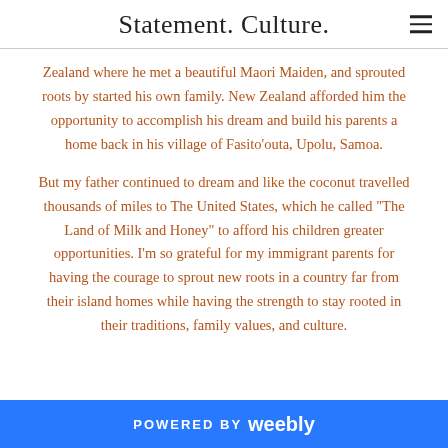Statement. Culture.
Zealand where he met a beautiful Maori Maiden, and sprouted roots by started his own family. New Zealand afforded him the opportunity to accomplish his dream and build his parents a home back in his village of Fasito'outa, Upolu, Samoa.
But my father continued to dream and like the coconut travelled thousands of miles to The United States, which he called "The Land of Milk and Honey" to afford his children greater opportunities. I'm so grateful for my immigrant parents for having the courage to sprout new roots in a country far from their island homes while having the strength to stay rooted in their traditions, family values, and culture.
POWERED BY weebly